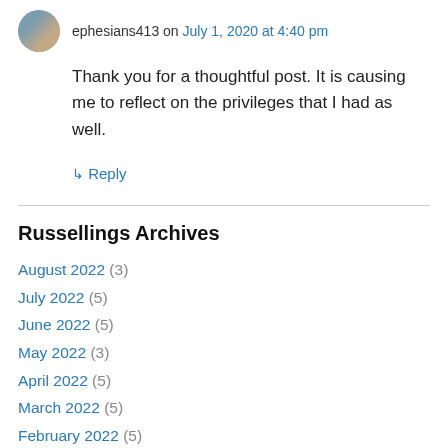ephesians413 on July 1, 2020 at 4:40 pm
Thank you for a thoughtful post. It is causing me to reflect on the privileges that I had as well.
↳ Reply
Russellings Archives
August 2022 (3)
July 2022 (5)
June 2022 (5)
May 2022 (3)
April 2022 (5)
March 2022 (5)
February 2022 (5)
January 2022 (6)
December 2021 (6)